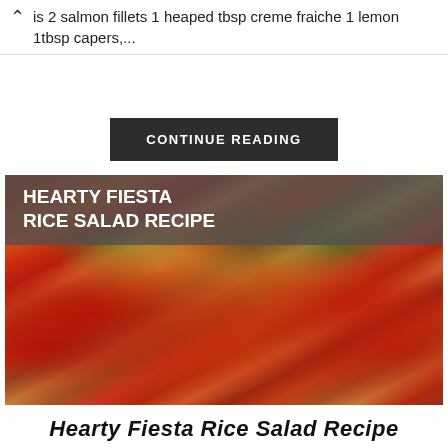is 2 salmon fillets 1 heaped tbsp creme fraiche 1 lemon 1tbsp capers,...
CONTINUE READING
[Figure (photo): A bowl of hearty fiesta rice salad with cherry tomatoes, chickpeas, corn, green peppers, red onion, and herbs. Overlay text reads HEARTY FIESTA RICE SALAD RECIPE.]
Hearty Fiesta Rice Salad Recipe